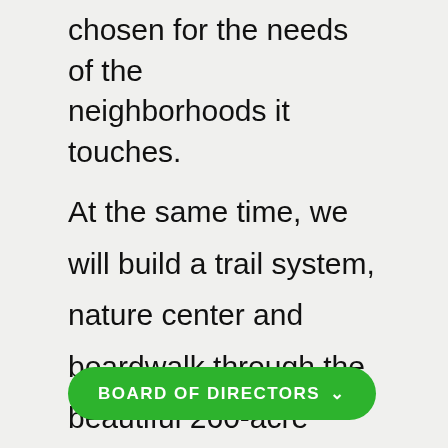chosen for the needs of the neighborhoods it touches.
At the same time, we will build a trail system, nature center and boardwalk through the beautiful 260-acre Cypress Nature Preserve near downtown. This will provide opportunities for schoolchildren and other visitors to learn about the park and its inhabitants.
BOARD OF DIRECTORS ˅